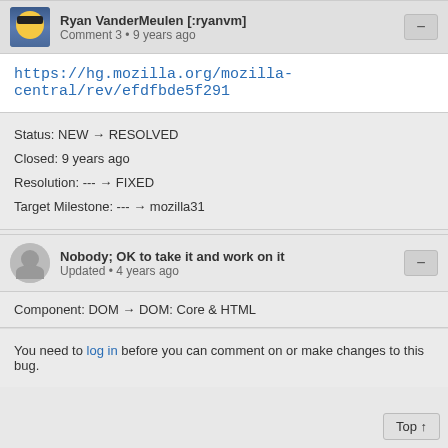Ryan VanderMeulen [:ryanvm] • Comment 3 • 9 years ago
https://hg.mozilla.org/mozilla-central/rev/efdfbde5f291
Status: NEW → RESOLVED
Closed: 9 years ago
Resolution: --- → FIXED
Target Milestone: --- → mozilla31
Nobody; OK to take it and work on it • Updated • 4 years ago
Component: DOM → DOM: Core & HTML
You need to log in before you can comment on or make changes to this bug.